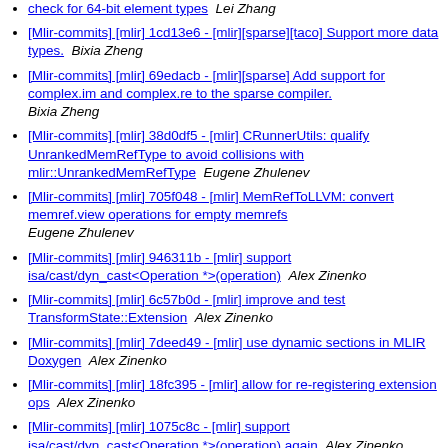[Mlir-commits] [mlir] 1cd13e6 - [mlir][sparse][taco] Support more data types.  Bixia Zheng
[Mlir-commits] [mlir] 69edacb - [mlir][sparse] Add support for complex.im and complex.re to the sparse compiler.  Bixia Zheng
[Mlir-commits] [mlir] 38d0df5 - [mlir] CRunnerUtils: qualify UnrankedMemRefType to avoid collisions with mlir::UnrankedMemRefType  Eugene Zhulenev
[Mlir-commits] [mlir] 705f048 - [mlir] MemRefToLLVM: convert memref.view operations for empty memrefs  Eugene Zhulenev
[Mlir-commits] [mlir] 946311b - [mlir] support isa/cast/dyn_cast<Operation *>(operation)  Alex Zinenko
[Mlir-commits] [mlir] 6c57b0d - [mlir] improve and test TransformState::Extension  Alex Zinenko
[Mlir-commits] [mlir] 7deed49 - [mlir] use dynamic sections in MLIR Doxygen  Alex Zinenko
[Mlir-commits] [mlir] 18fc395 - [mlir] allow for re-registering extension ops  Alex Zinenko
[Mlir-commits] [mlir] 1075c8c - [mlir] support isa/cast/dyn_cast<Operation *>(operation) again  Alex Zinenko
[Mlir-commits] [mlir] 122e685 - [mlir] do not elide dialect prefix for ops with dots in the name  Alex Zinenko
[Mlir-commits] [mlir] 75e3d5f - [mlir] ...